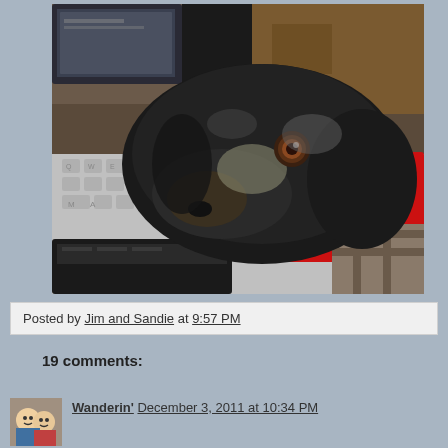[Figure (photo): A dachshund dog resting its chin on a laptop keyboard, with a red object (possibly a book or tablet) and a MacBook keyboard visible. The dog is dark colored with brown eyes looking at the camera.]
Posted by Jim and Sandie at 9:57 PM
19 comments:
Wanderin' December 3, 2011 at 10:34 PM